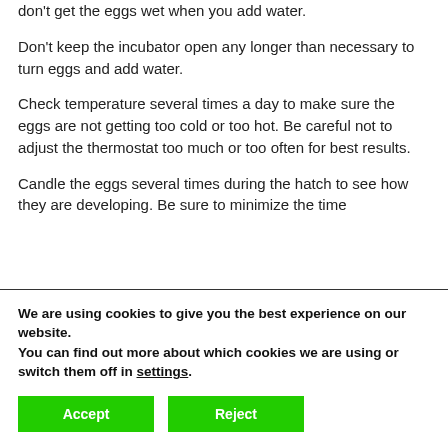don't get the eggs wet when you add water.
Don't keep the incubator open any longer than necessary to turn eggs and add water.
Check temperature several times a day to make sure the eggs are not getting too cold or too hot. Be careful not to adjust the thermostat too much or too often for best results.
Candle the eggs several times during the hatch to see how they are developing. Be sure to minimize the time
We are using cookies to give you the best experience on our website.
You can find out more about which cookies we are using or switch them off in settings.
Accept
Reject